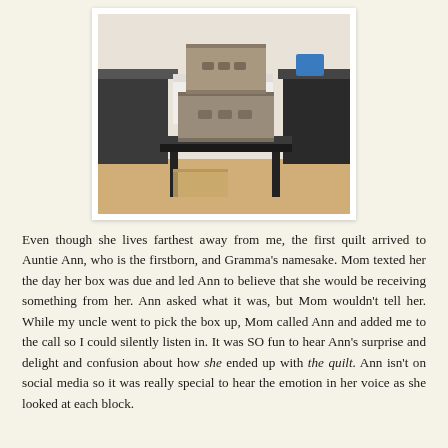[Figure (photo): Two stacked cardboard boxes sitting on a dark table in what appears to be an office or store environment. The boxes have handles/cutouts. Background shows counters, shelving, and equipment.]
Even though she lives farthest away from me, the first quilt arrived to Auntie Ann, who is the firstborn, and Gramma's namesake. Mom texted her the day her box was due and led Ann to believe that she would be receiving something from her. Ann asked what it was, but Mom wouldn't tell her. While my uncle went to pick the box up, Mom called Ann and added me to the call so I could silently listen in. It was SO fun to hear Ann's surprise and delight and confusion about how she ended up with the quilt. Ann isn't on social media so it was really special to hear the emotion in her voice as she looked at each block.